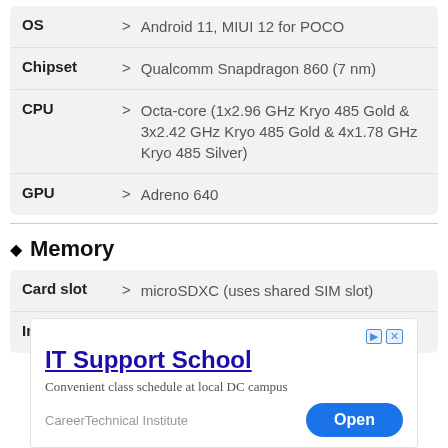| Spec |  | Value |
| --- | --- | --- |
| OS | > | Android 11, MIUI 12 for POCO |
| Chipset | > | Qualcomm Snapdragon 860 (7 nm) |
| CPU | > | Octa-core (1x2.96 GHz Kryo 485 Gold & 3x2.42 GHz Kryo 485 Gold & 4x1.78 GHz Kryo 485 Silver) |
| GPU | > | Adreno 640 |
Memory
| Spec |  | Value |
| --- | --- | --- |
| Card slot | > | microSDXC (uses shared SIM slot) |
| Internal | > | 128GB 6GB RAM |
[Figure (other): Advertisement for IT Support School by CareerTechnical Institute with Open button]